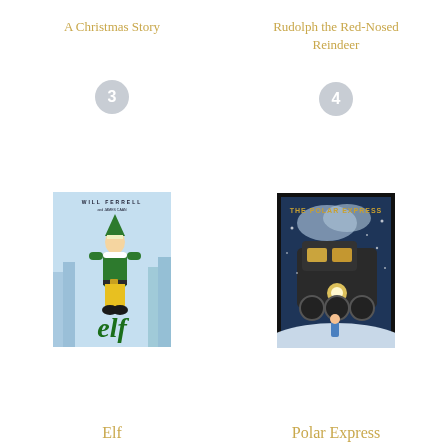A Christmas Story
Rudolph the Red-Nosed Reindeer
[Figure (other): Circular badge with number 3]
[Figure (other): Circular badge with number 4]
[Figure (illustration): Elf movie poster showing Will Ferrell as Buddy the Elf in green costume against New York City skyline with large green 'elf' text]
[Figure (illustration): The Polar Express movie poster showing a steam locomotive in a snowy night scene with a small figure in a blue coat]
Elf
Polar Express